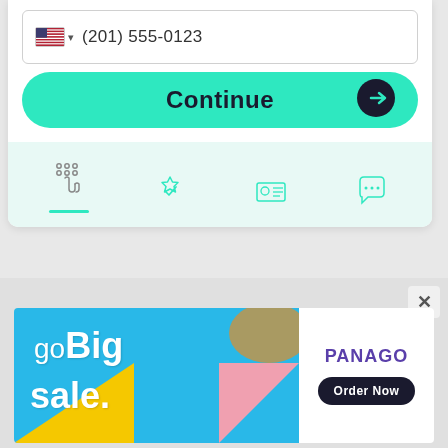(201) 555-0123
Continue
[Figure (screenshot): App tab bar with four icons: keypad/hand icon (active with teal underline), badge/checkmark icon, ID card icon, and chat bubble icon]
[Figure (infographic): Panago pizza advertisement banner with 'go Big sale.' text on blue/yellow/pink background and 'PANAGO Order Now' on white background]